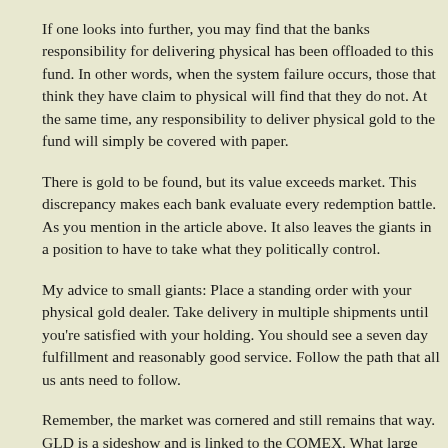If one looks into further, you may find that the banks responsibility for delivering physical has been offloaded to this fund. In other words, when the system failure occurs, those that think they have claim to physical will find that they do not. At the same time, any responsibility to deliver physical gold to the fund will simply be covered with paper.
There is gold to be found, but its value exceeds market. This discrepancy makes each bank evaluate every redemption battle. As you mention in the article above. It also leaves the giants in a position to have to take what they politically control.
My advice to small giants: Place a standing order with your physical gold dealer. Take delivery in multiple shipments until you're satisfied with your holding. You should see a seven day fulfillment and reasonably good service. Follow the path that all us ants need to follow.
Remember, the market was cornered and still remains that way. GLD is a sideshow and is linked to the COMEX. What large blocks of gold that do move, move with intent that is outside the realm of a small giant.